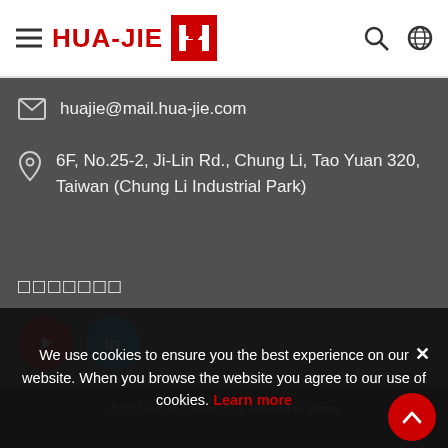[Figure (logo): HUA-JIE logo with red text and red square icon with white H shape]
huajie@mail.hua-jie.com
6F, No.25-2, Ji-Lin Rd., Chung Li, Tao Yuan 320, Taiwan (Chung Li Industrial Park)
□□□□□□□
[Figure (illustration): YouTube red circle button and LinkedIn blue circle button]
We use cookies to ensure you the best experience on our website. When you browse the website you agree to our use of cookies. Learn more
© 2022 Hua-Jie (Taiwan) Corp. Powered by Stratec